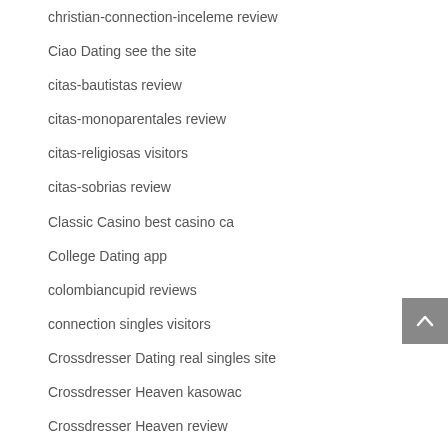christian-connection-inceleme review
Ciao Dating see the site
citas-bautistas review
citas-monoparentales review
citas-religiosas visitors
citas-sobrias review
Classic Casino best casino ca
College Dating app
colombiancupid reviews
connection singles visitors
Crossdresser Dating real singles site
Crossdresser Heaven kasowac
Crossdresser Heaven review
crossdresser review
Crypto Trading